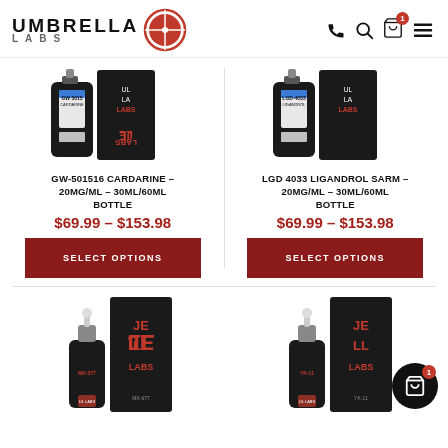UMBRELLA LABS
[Figure (photo): GW-501516 Cardarine product bottles - dropper bottle with label and black box with Umbrella Labs branding]
GW-501516 CARDARINE – 20MG/ML – 30ML/60ML BOTTLE
$69.99 – $153.98
SELECT OPTIONS
[Figure (photo): LGD-4033 Ligandrol SARM product bottles - dropper bottle with label and black box with Umbrella Labs branding]
LGD 4033 LIGANDROL SARM – 20MG/ML – 30ML/60ML BOTTLE
$69.99 – $153.98
SELECT OPTIONS
[Figure (photo): MK-677 product dropper bottle with black box packaging, Umbrella Labs branding]
[Figure (photo): YK-11 product dropper bottle with black box packaging, Umbrella Labs branding, with floating cart icon overlay]